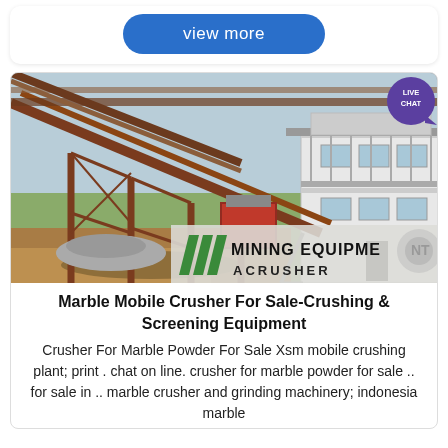view more
[Figure (photo): Outdoor mining/crushing plant facility with conveyor structure and a white multi-story building. Overlay watermark text: MINING EQUIPMENT // ACRUSHER with green slash logo. A live chat badge in purple is in the top-right corner.]
Marble Mobile Crusher For Sale-Crushing & Screening Equipment
Crusher For Marble Powder For Sale Xsm mobile crushing plant; print . chat on line. crusher for marble powder for sale .. for sale in .. marble crusher and grinding machinery; indonesia marble